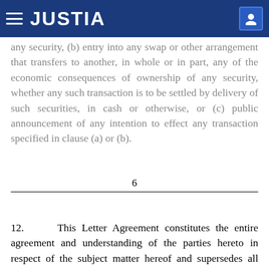JUSTIA
any security, (b) entry into any swap or other arrangement that transfers to another, in whole or in part, any of the economic consequences of ownership of any security, whether any such transaction is to be settled by delivery of such securities, in cash or otherwise, or (c) public announcement of any intention to effect any transaction specified in clause (a) or (b).
6
12.      This Letter Agreement constitutes the entire agreement and understanding of the parties hereto in respect of the subject matter hereof and supersedes all prior understandings, agreements, or representations by or among the parties hereto, written or oral, to the